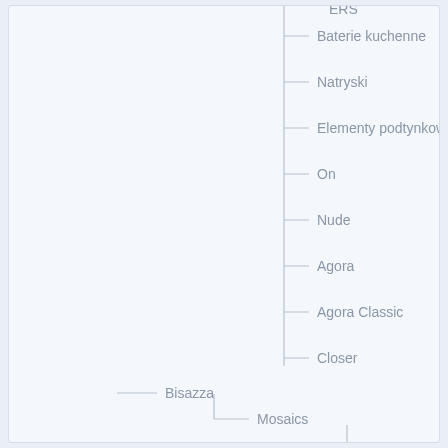[Figure (organizational-chart): Hierarchical tree navigation menu showing product categories. Top section shows items: Baterie kuchenne, Natryski, Elementy podtynkowe, On, Nude, Agora, Agora Classic, Closer (all as leaf nodes). Then Bisazza as a mid-level node with child Mosaics, which has leaf nodes: Blends 10, Blends 20, Blends Opus Romano, Opus Romano, Shading Blends, Summer Flowers (partially visible).]